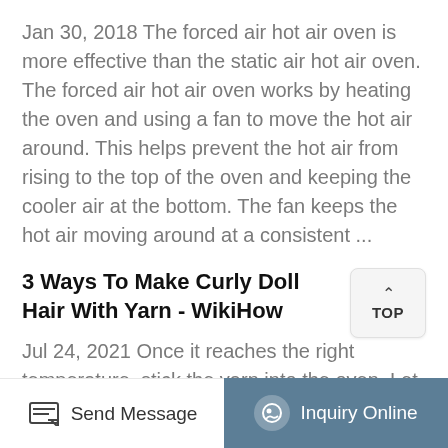Jan 30, 2018 The forced air hot air oven is more effective than the static air hot air oven. The forced air hot air oven works by heating the oven and using a fan to move the hot air around. This helps prevent the hot air from rising to the top of the oven and keeping the cooler air at the bottom. The fan keeps the hot air moving around at a consistent ...
3 Ways To Make Curly Doll Hair With Yarn - WikiHow
Jul 24, 2021 Once it reaches the right temperature, stick the yarn into the oven. Let it bake until it is completely dry, about minutes. Check on the every 15 minutes, especially if it is acrylic, so that it doesn't melt. If you are using a soft variety of yarn,
Send Message | Inquiry Online